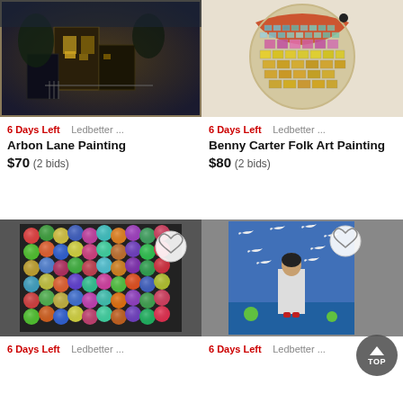[Figure (photo): Arbon Lane Painting - dark moody painting of a building/lane scene with dark blues and yellows]
6 Days Left   Ledbetter ...
Arbon Lane Painting
$70 (2 bids)
[Figure (photo): Benny Carter Folk Art Painting - circular folk art painting with colorful grid-like city scene]
6 Days Left   Ledbetter ...
Benny Carter Folk Art Painting
$80 (2 bids)
[Figure (photo): Colorful pom-pom or button art quilt-like artwork with multicolored circles on dark background]
6 Days Left   Ledbetter ...
[Figure (photo): Folk art painting of a woman in white dress with white birds/doves flying around her against blue background]
6 Days Left   Ledbetter ...